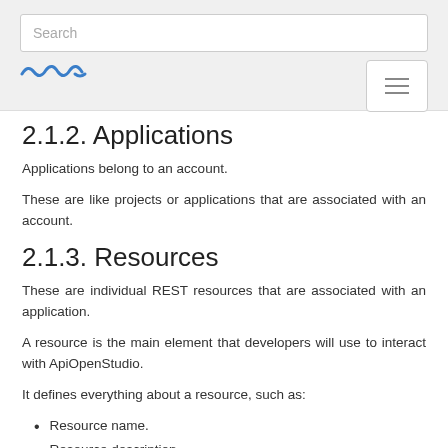Search
2.1.2. Applications
Applications belong to an account.
These are like projects or applications that are associated with an account.
2.1.3. Resources
These are individual REST resources that are associated with an application.
A resource is the main element that developers will use to interact with ApiOpenStudio.
It defines everything about a resource, such as:
Resource name.
Resource description.
URI.